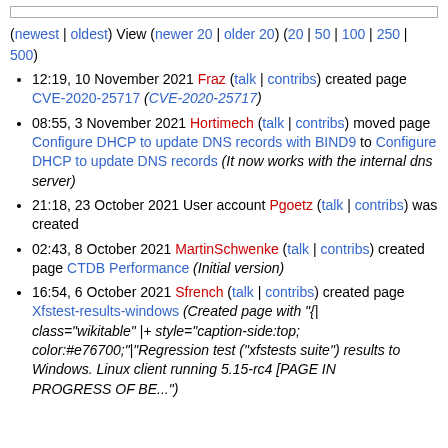(newest | oldest) View (newer 20 | older 20) (20 | 50 | 100 | 250 | 500)
12:19, 10 November 2021 Fraz (talk | contribs) created page CVE-2020-25717 (CVE-2020-25717)
08:55, 3 November 2021 Hortimech (talk | contribs) moved page Configure DHCP to update DNS records with BIND9 to Configure DHCP to update DNS records (It now works with the internal dns server)
21:18, 23 October 2021 User account Pgoetz (talk | contribs) was created
02:43, 8 October 2021 MartinSchwenke (talk | contribs) created page CTDB Performance (Initial version)
16:54, 6 October 2021 Sfrench (talk | contribs) created page Xfstest-results-windows (Created page with "{| class="wikitable" |+ style="caption-side:top; color:#e76700;"|"Regression test ("xfstests suite") results to Windows. Linux client running 5.15-rc4 [PAGE IN PROGRESS OF BE...")